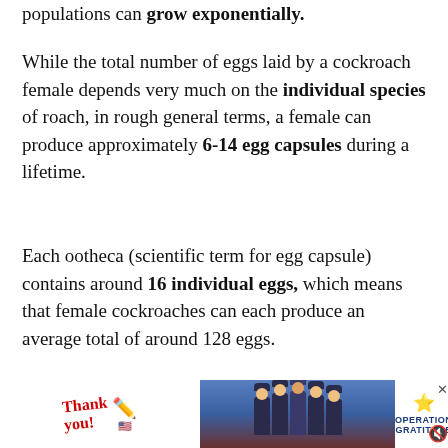populations can grow exponentially.
While the total number of eggs laid by a cockroach female depends very much on the individual species of roach, in rough general terms, a female can produce approximately 6-14 egg capsules during a lifetime.
Each ootheca (scientific term for egg capsule) contains around 16 individual eggs, which means that female cockroaches can each produce an average total of around 128 eggs.
The four most common indoor cockroach species found in the USA are are German, American, Oriental an...
[Figure (other): Advertisement banner at the bottom: left side shows 'Thank you!' text in red cursive with a pencil icon and an American flag design, middle shows a photo of firefighters posing in front of a fire truck, right side shows Operation Gratitude logo with star, with a close (X) button and mute icon.]